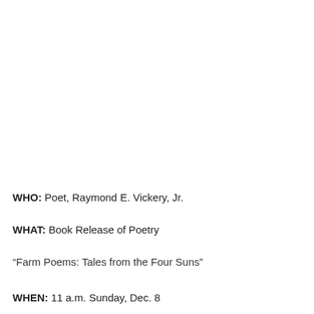WHO: Poet, Raymond E. Vickery, Jr.
WHAT: Book Release of Poetry
“Farm Poems: Tales from the Four Suns”
WHEN: 11 a.m. Sunday, Dec. 8